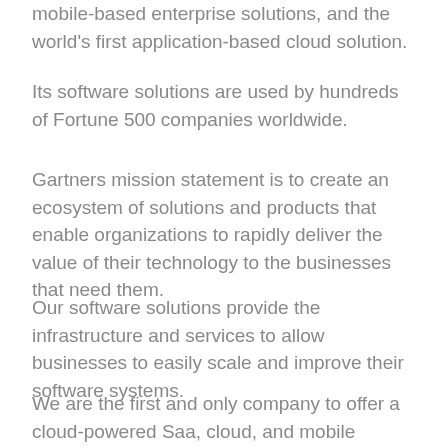mobile-based enterprise solutions, and the world's first application-based cloud solution.
Its software solutions are used by hundreds of Fortune 500 companies worldwide.
Gartners mission statement is to create an ecosystem of solutions and products that enable organizations to rapidly deliver the value of their technology to the businesses that need them.
Our software solutions provide the infrastructure and services to allow businesses to easily scale and improve their software systems.
We are the first and only company to offer a cloud-powered Saa, cloud, and mobile application solution to the enterprise.
Company Culture: At Gartens, we believe that people